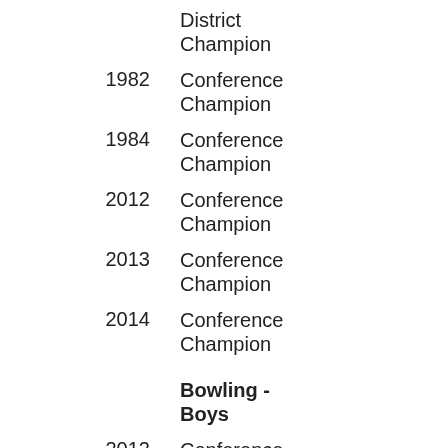Champion
District Champion
1982 – Conference Champion
1984 – Conference Champion
2012 – Conference Champion
2013 – Conference Champion
2014 – Conference Champion
Bowling - Boys
2012 – Conference Champion
Bowling - Girls
-
Cross Country -